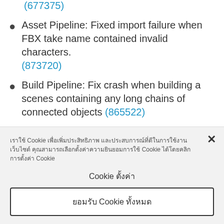(677375)
Asset Pipeline: Fixed import failure when FBX take name contained invalid characters. (873720)
Build Pipeline: Fix crash when building a scenes containing any long chains of connected objects (865522)
Build Pipeline: Fix issue where the the icon of
เราใช้ Cookie เพื่อเพิ่มประสิทธิภาพ และประสบการณ์ที่ดีในการใช้งานเว็บไซต์ คุณสามารถเลือกตั้งค่าความยินยอมการใช้ Cookie ได้โดยคลิก การตั้งค่า Cookie
Cookie ตั้งค่า
ยอมรับ Cookie ทั้งหมด